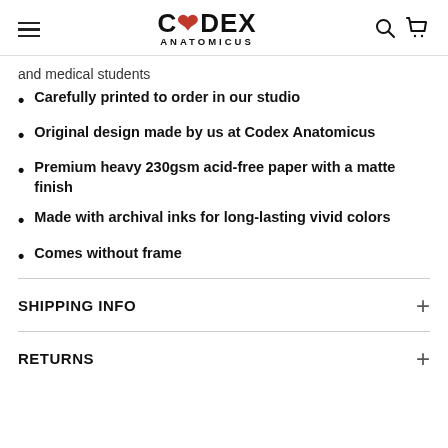CODEX ANATOMICUS (navigation bar with hamburger menu, logo, search and cart icons)
and medical students
Carefully printed to order in our studio
Original design made by us at Codex Anatomicus
Premium heavy 230gsm acid-free paper with a matte finish
Made with archival inks for long-lasting vivid colors
Comes without frame
SHIPPING INFO
RETURNS